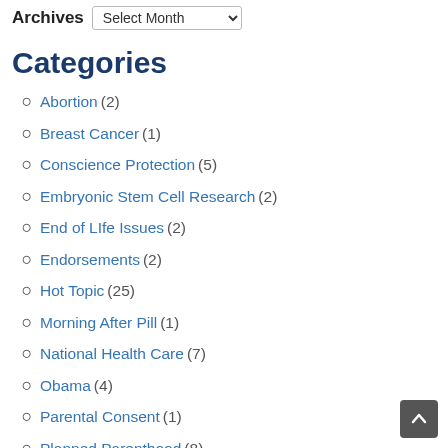Archives  Select Month
Categories
Abortion (2)
Breast Cancer (1)
Conscience Protection (5)
Embryonic Stem Cell Research (2)
End of LIfe Issues (2)
Endorsements (2)
Hot Topic (25)
Morning After Pill (1)
National Health Care (7)
Obama (4)
Parental Consent (1)
Planned Parenthood (8)
Politics / Campaigns (9)
Religious Liberty (1)